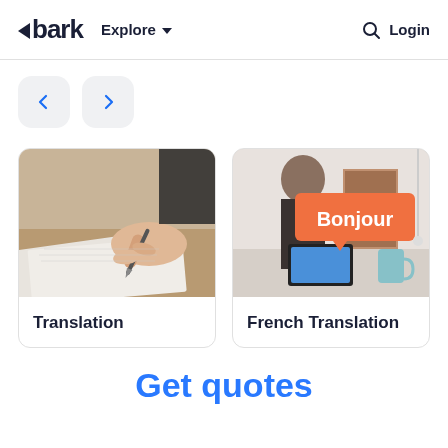bark  Explore  Login
[Figure (screenshot): Navigation arrows: left arrow button and right arrow button]
[Figure (photo): Close-up of hands writing with a pen on paper — Translation category card image]
Translation
[Figure (photo): Person at laptop with orange speech bubble saying Bonjour — French Translation category card image]
French Translation
Get quotes